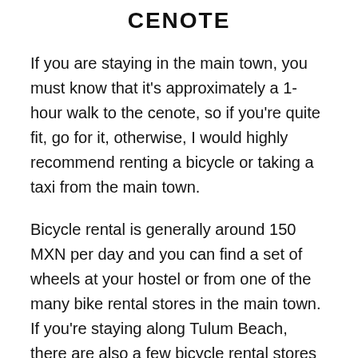CENOTE
If you are staying in the main town, you must know that it's approximately a 1-hour walk to the cenote, so if you're quite fit, go for it, otherwise, I would highly recommend renting a bicycle or taking a taxi from the main town.
Bicycle rental is generally around 150 MXN per day and you can find a set of wheels at your hostel or from one of the many bike rental stores in the main town. If you're staying along Tulum Beach, there are also a few bicycle rental stores along